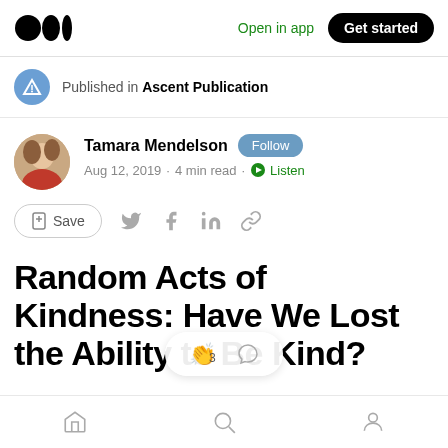Open in app  Get started
Published in Ascent Publication
Tamara Mendelson  Follow
Aug 12, 2019 · 4 min read · Listen
Save
Random Acts of Kindness: Have We Lost the Ability to Be Kind?
Home  Search  Profile